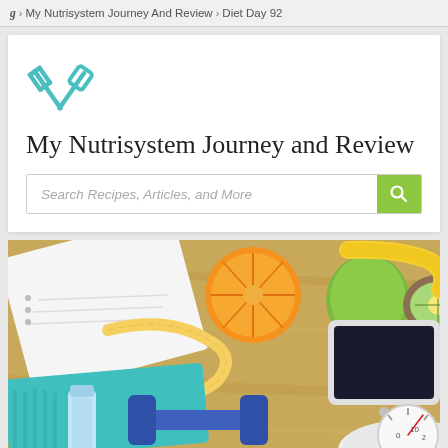g › My Nutrisystem Journey And Review › Diet Day 92
[Figure (logo): Fork and spatula crossed icon in teal/cyan color]
My Nutrisystem Journey and Review
Search Recipes, Articles, and More
[Figure (photo): Overhead view of fitness and diet items on a wooden table: fruits (orange, apple, kiwi, banana), measuring tape, notebook, teal towel, water bottle, blue dumbbell, tablet, and a weighing scale]